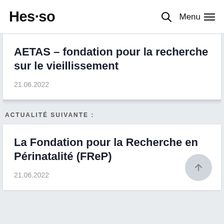Hes·so  🔍  Menu ≡
AETAS – fondation pour la recherche sur le vieillissement
21.06.2022
ACTUALITÉ SUIVANTE :
La Fondation pour la Recherche en Périnatalité (FReP)
21.06.2022